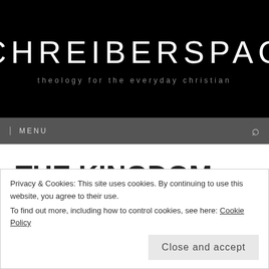SCHREIBERSPACE
theology for the everyday christian
MENU
THE KINGDOM, THE POWER, AND THE GLORY
Privacy & Cookies: This site uses cookies. By continuing to use this website, you agree to their use.
To find out more, including how to control cookies, see here: Cookie Policy
Close and accept